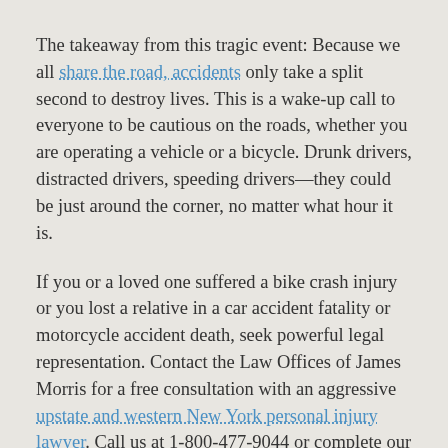The takeaway from this tragic event: Because we all share the road, accidents only take a split second to destroy lives. This is a wake-up call to everyone to be cautious on the roads, whether you are operating a vehicle or a bicycle. Drunk drivers, distracted drivers, speeding drivers—they could be just around the corner, no matter what hour it is.
If you or a loved one suffered a bike crash injury or you lost a relative in a car accident fatality or motorcycle accident death, seek powerful legal representation. Contact the Law Offices of James Morris for a free consultation with an aggressive upstate and western New York personal injury lawyer. Call us at 1-800-477-9044 or complete our online contact form.